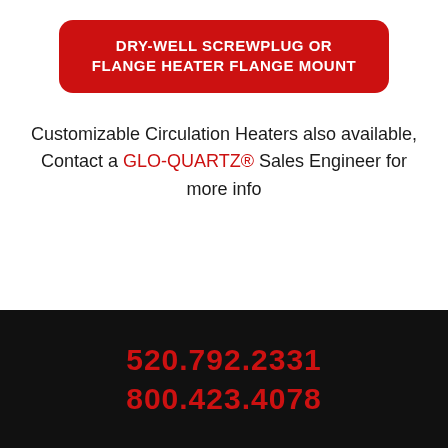DRY-WELL SCREWPLUG OR FLANGE HEATER FLANGE MOUNT
Customizable Circulation Heaters also available, Contact a GLO-QUARTZ® Sales Engineer for more info
520.792.2331
800.423.4078